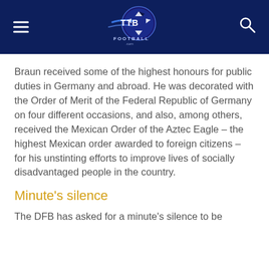TTB Football logo with navigation menu and search icon
Braun received some of the highest honours for public duties in Germany and abroad. He was decorated with the Order of Merit of the Federal Republic of Germany on four different occasions, and also, among others, received the Mexican Order of the Aztec Eagle – the highest Mexican order awarded to foreign citizens – for his unstinting efforts to improve lives of socially disadvantaged people in the country.
Minute's silence
The DFB has asked for a minute's silence to be